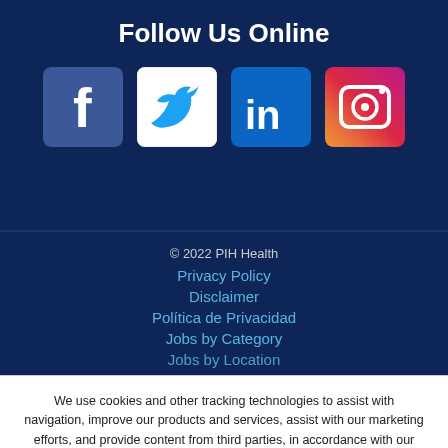Follow Us Online
[Figure (illustration): Four social media icons: Facebook (dark blue), Twitter (white/blue bird), LinkedIn (blue with 'in'), Instagram (gradient camera icon)]
© 2022 PIH Health
Privacy Policy
Disclaimer
Política de Privacidad
Jobs by Category
Jobs by Location
We use cookies and other tracking technologies to assist with navigation, improve our products and services, assist with our marketing efforts, and provide content from third parties, in accordance with our privacy policy.
Close